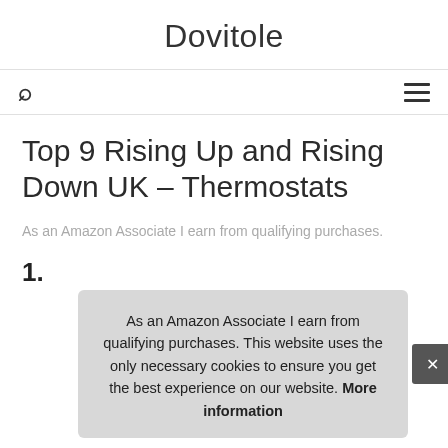Dovitole
Top 9 Rising Up and Rising Down UK – Thermostats
As an Amazon Associate I earn from qualifying purchases.
1.
As an Amazon Associate I earn from qualifying purchases. This website uses the only necessary cookies to ensure you get the best experience on our website. More information